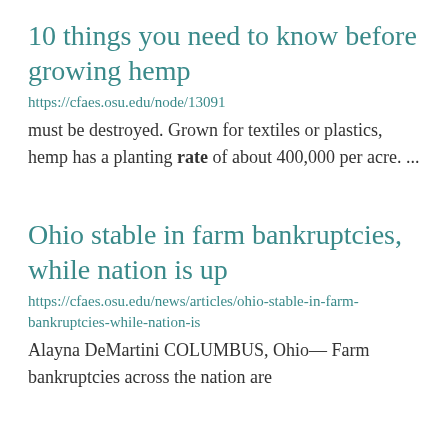10 things you need to know before growing hemp
https://cfaes.osu.edu/node/13091
must be destroyed. Grown for textiles or plastics, hemp has a planting rate of about 400,000 per acre. ...
Ohio stable in farm bankruptcies, while nation is up
https://cfaes.osu.edu/news/articles/ohio-stable-in-farm-bankruptcies-while-nation-is
Alayna DeMartini COLUMBUS, Ohio— Farm bankruptcies across the nation are